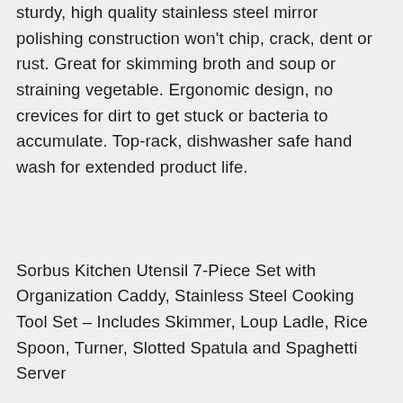sturdy, high quality stainless steel mirror polishing construction won't chip, crack, dent or rust. Great for skimming broth and soup or straining vegetable. Ergonomic design, no crevices for dirt to get stuck or bacteria to accumulate. Top-rack, dishwasher safe hand wash for extended product life.
Sorbus Kitchen Utensil 7-Piece Set with Organization Caddy, Stainless Steel Cooking Tool Set – Includes Skimmer, Loup Ladle, Rice Spoon, Turner, Slotted Spatula and Spaghetti Server